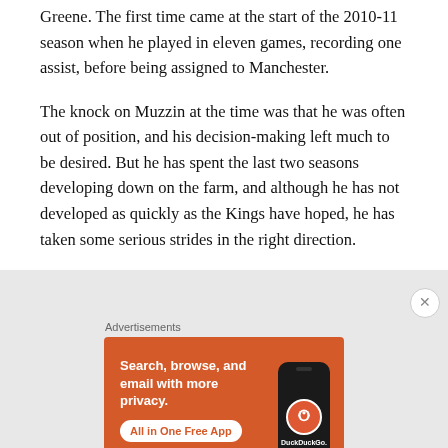Greene. The first time came at the start of the 2010-11 season when he played in eleven games, recording one assist, before being assigned to Manchester.
The knock on Muzzin at the time was that he was often out of position, and his decision-making left much to be desired. But he has spent the last two seasons developing down on the farm, and although he has not developed as quickly as the Kings have hoped, he has taken some serious strides in the right direction.
[Figure (infographic): DuckDuckGo advertisement banner with orange background, showing phone with DuckDuckGo logo. Text: 'Search, browse, and email with more privacy. All in One Free App']